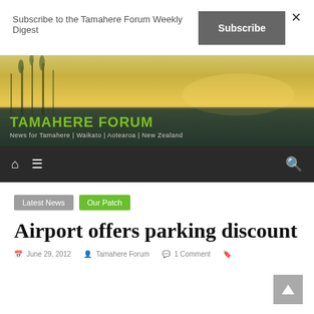Subscribe to the Tamahere Forum Weekly Digest
[Figure (screenshot): Tamahere Forum website banner with nature background image showing reeds and golden light. Green text 'TAMAHERE FORUM' and subtitle 'News for Tamahere | Waikato | Aotearoa | New Zealand']
[Figure (screenshot): Dark navigation bar with home icon, hamburger menu icon, and search icon]
Latest News
Our Patch
Airport offers parking discount
June 29, 2012  Tamahere Forum  1 Comment